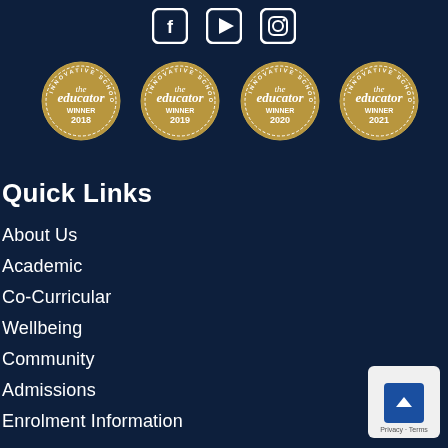[Figure (illustration): Social media icons: Facebook, YouTube, Instagram — white icons in rounded square borders on dark navy background]
[Figure (illustration): Four circular gold educator award badges: Innovative Schools Winner 2018, 2019, 2020, 2021 — The Educator magazine logos]
Quick Links
About Us
Academic
Co-Curricular
Wellbeing
Community
Admissions
Enrolment Information